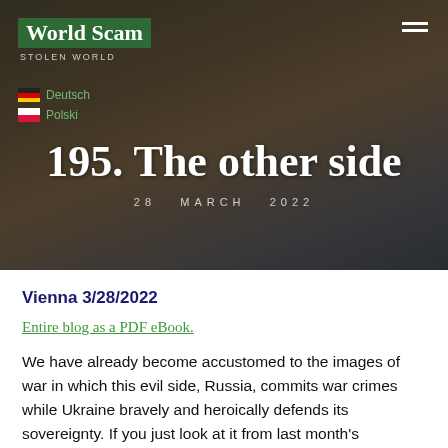World Scam
STOLEN WORLD
195. The other side
28 MARCH 2022
Vienna 3/28/2022
Entire blog as a PDF eBook.
We have already become accustomed to the images of war in which this evil side, Russia, commits war crimes while Ukraine bravely and heroically defends its sovereignty. If you just look at it from last month's perspective, Russia is undoubtedly the aggressor. I do not intend now to go into the political reasons